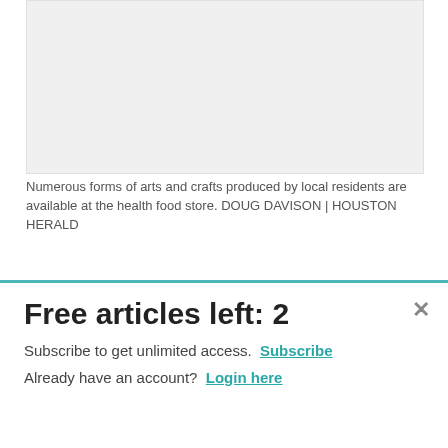[Figure (photo): Photo placeholder showing arts and crafts at the health food store]
Numerous forms of arts and crafts produced by local residents are available at the health food store. DOUG DAVISON | HOUSTON HERALD
A team leader, Sally was over several departments that included supplements, body care, home décor, books and clothing. Her responsibilities included fresh produce
Free articles left: 2
Subscribe to get unlimited access.  Subscribe
Already have an account?  Login here